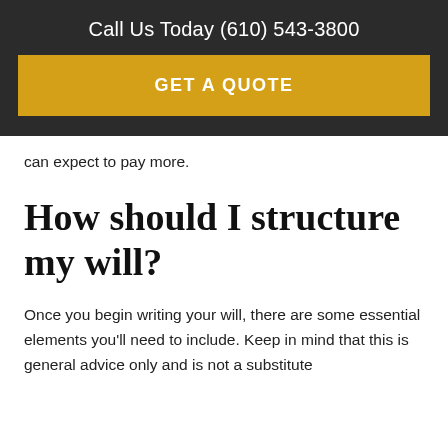Call Us Today (610) 543-3800
[Figure (other): GET A QUOTE button - yellow/gold call-to-action button]
can expect to pay more.
How should I structure my will?
Once you begin writing your will, there are some essential elements you'll need to include. Keep in mind that this is general advice only and is not a substitute